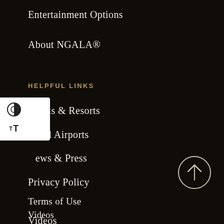Entertainment Options
About NGALA®
HELPFUL LINKS
Hotels & Resorts
Local Airports
News & Press
Privacy Policy
Terms of Use
Videos
Photo Gallery
[Figure (illustration): Accessibility widget with contrast toggle and text size toggle buttons]